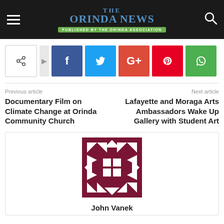THE ORINDA NEWS — PUBLISHED BY THE ORINDA ASSOCIATION
[Figure (infographic): Social share buttons: share icon, Facebook, Twitter, Google+, Pinterest, WhatsApp]
Previous article
Documentary Film on Climate Change at Orinda Community Church
Next article
Lafayette and Moraga Arts Ambassadors Wake Up Gallery with Student Art
[Figure (illustration): Author avatar: decorative geometric pattern in dark red/maroon on white background]
John Vanek